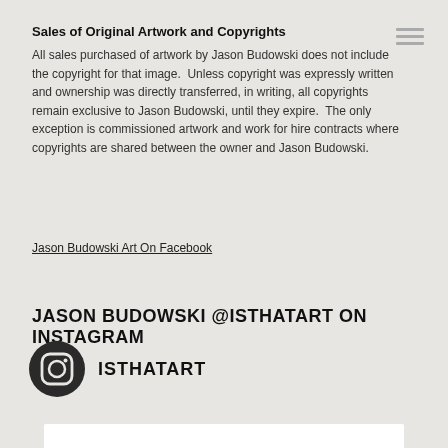Sales of Original Artwork and Copyrights
All sales purchased of artwork by Jason Budowski does not include the copyright for that image.  Unless copyright was expressly written and ownership was directly transferred, in writing, all copyrights remain exclusive to Jason Budowski, until they expire.  The only exception is commissioned artwork and work for hire contracts where copyrights are shared between the owner and Jason Budowski.
Jason Budowski Art On Facebook
JASON BUDOWSKI @ISTHATART ON INSTAGRAM
[Figure (logo): Instagram logo icon — rounded square with camera outline in dark circle, followed by username ISTHATART]